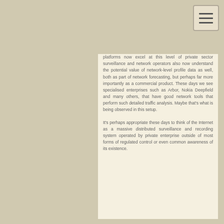platforms now excel at this level of private sector surveillance and network operators also now understand the potential value of network-level profile data as well, both as part of network forecasting, but perhaps far more importantly as a commercial product. These days we see specialised enterprises such as Arbor, Nokia Deepfield and many others, that have good network tools that perform such detailed traffic analysis. Maybe that's what is being observed in this setup.
It's perhaps appropriate these days to think of the Internet as a massive distributed surveillance and recording system operated by private enterprise outside of most forms of regulated control or even common awareness of its existence.